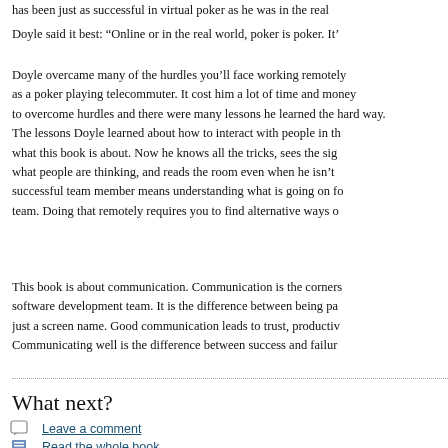has been just as successful in virtual poker as he was in the real
Doyle said it best: “Online or in the real world, poker is poker. It’
Doyle overcame many of the hurdles you’ll face working remotely as a poker playing telecommuter. It cost him a lot of time and money to overcome those hurdles and there were many lessons he learned the hard way. The lessons Doyle learned about how to interact with people in the virtual world is what this book is about. Now he knows all the tricks, sees the signals that reveal what people are thinking, and reads the room even when he isn’t there. Being a successful team member means understanding what is going on for everyone on the team. Doing that remotely requires you to find alternative ways of
This book is about communication. Communication is the cornerstone of every software development team. It is the difference between being part of a team or just a screen name. Good communication leads to trust, productivity, and success. Communicating well is the difference between success and failure
What next?
Leave a comment
Read the whole book
Tweet this post
Subscribe to The One Minute Commute